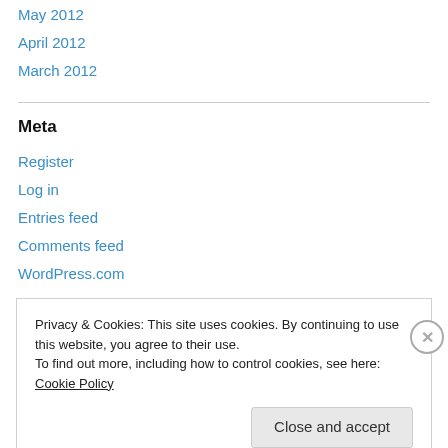May 2012
April 2012
March 2012
Meta
Register
Log in
Entries feed
Comments feed
WordPress.com
Advertisements
Privacy & Cookies: This site uses cookies. By continuing to use this website, you agree to their use. To find out more, including how to control cookies, see here: Cookie Policy
Close and accept